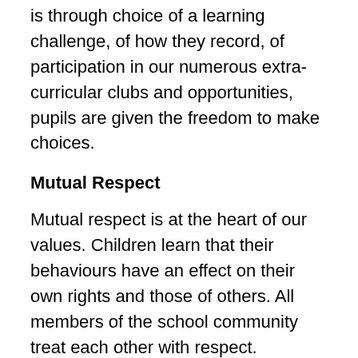is through choice of a learning challenge, of how they record, of participation in our numerous extra-curricular clubs and opportunities, pupils are given the freedom to make choices.
Mutual Respect
Mutual respect is at the heart of our values. Children learn that their behaviours have an effect on their own rights and those of others. All members of the school community treat each other with respect.
Tolerance of those of Different Faiths and Beliefs